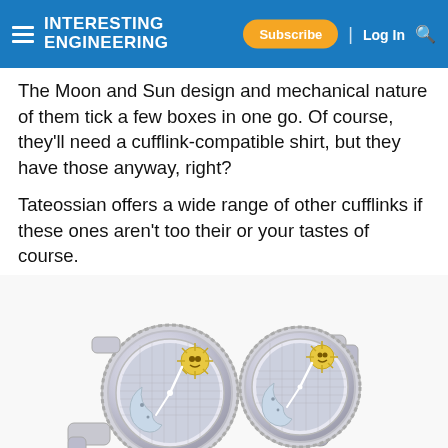INTERESTING ENGINEERING — Subscribe | Log In
The Moon and Sun design and mechanical nature of them tick a few boxes in one go. Of course, they'll need a cufflink-compatible shirt, but they have those anyway, right?
Tateossian offers a wide range of other cufflinks if these ones aren't too their or your tastes of course.
[Figure (photo): Two silver mechanical cufflinks with Moon and Sun design, shown side by side on white background. Each cufflink has a circular dial face with sun and crescent moon motifs and watch-like hands, set in a knurled silver case.]
Source: Amazon